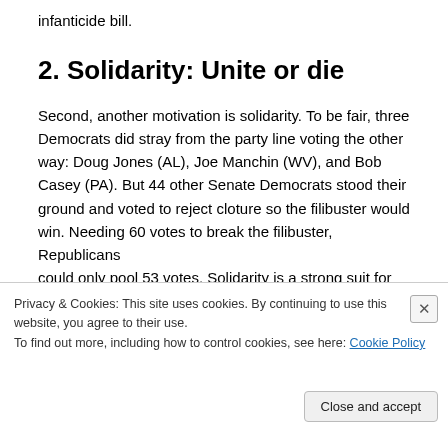infanticide bill.
2. Solidarity: Unite or die
Second, another motivation is solidarity. To be fair, three Democrats did stray from the party line voting the other way: Doug Jones (AL), Joe Manchin (WV), and Bob Casey (PA). But 44 other Senate Democrats stood their ground and voted to reject cloture so the filibuster would win. Needing 60 votes to break the filibuster, Republicans could only pool 53 votes. Solidarity is a strong suit for
Privacy & Cookies: This site uses cookies. By continuing to use this website, you agree to their use.
To find out more, including how to control cookies, see here: Cookie Policy